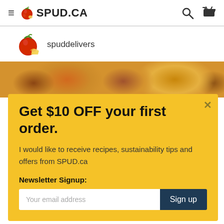≡ SPUD.CA
spuddelivers
[Figure (photo): Close-up photo of golden-brown breaded food items on a light surface]
Get $10 OFF your first order.
I would like to receive recipes, sustainability tips and offers from SPUD.ca
Newsletter Signup:
Your email address  Sign up